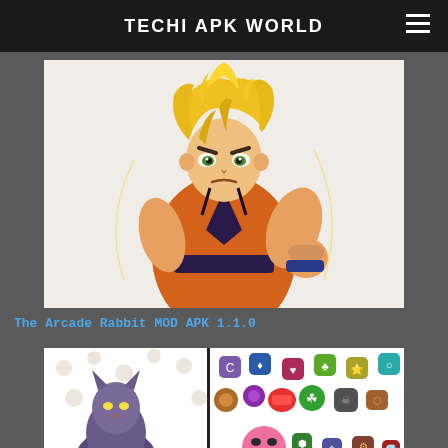TECHI APK WORLD
[Figure (illustration): Anime illustration of Super Saiyan Goku from Dragon Ball, with spiky golden hair, orange gi, and raised fist in fighting pose]
The Arcade Rabbit MOD APK 1.1.0
[Figure (screenshot): Screenshot of The Arcade Rabbit game showing cartoon characters and colorful game icons/items on white background]